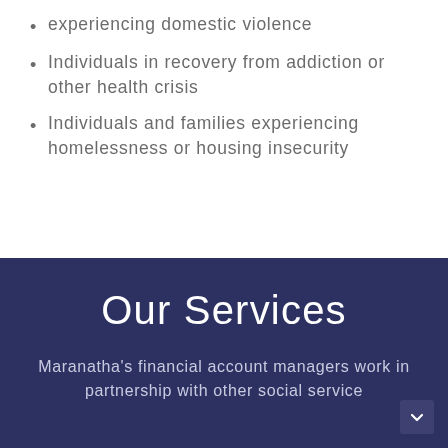experiencing domestic violence
Individuals in recovery from addiction or other health crisis
Individuals and families experiencing homelessness or housing insecurity
Our Services
Maranatha's financial account managers work in partnership with other social service